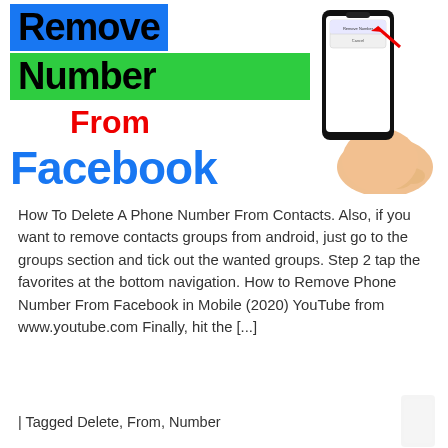[Figure (illustration): Graphic banner showing text 'Remove Number From Facebook' with blue and green background highlights, red 'From' text, blue 'Facebook' text, and a hand holding a smartphone with a red arrow pointing to the screen.]
How To Delete A Phone Number From Contacts. Also, if you want to remove contacts groups from android, just go to the groups section and tick out the wanted groups. Step 2 tap the favorites at the bottom navigation. How to Remove Phone Number From Facebook in Mobile (2020) YouTube from www.youtube.com Finally, hit the [...]
| Tagged Delete, From, Number